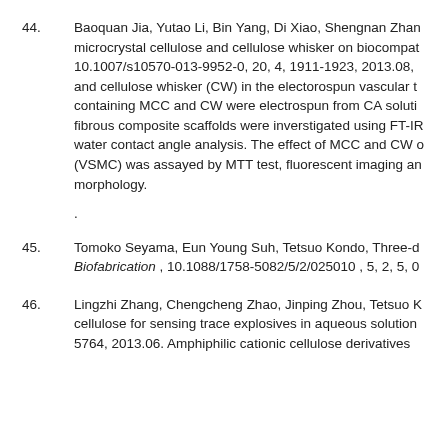44.	Baoquan Jia, Yutao Li, Bin Yang, Di Xiao, Shengnan Zha... microcrystal cellulose and cellulose whisker on biocompat... 10.1007/s10570-013-9952-0, 20, 4, 1911-1923, 2013.08, and cellulose whisker (CW) in the electorospun vascular t... containing MCC and CW were electrospun from CA soluti... fibrous composite scaffolds were inverstigated using FT-IR... water contact angle analysis. The effect of MCC and CW ... (VSMC) was assayed by MTT test, fluorescent imaging ar... morphology.
.
45.	Tomoko Seyama, Eun Young Suh, Tetsuo Kondo, Three-d... Biofabrication , 10.1088/1758-5082/5/2/025010 , 5, 2, 5, 0...
46.	Lingzhi Zhang, Chengcheng Zhao, Jinping Zhou, Tetsuo K... cellulose for sensing trace explosives in aqueous solution... 5764, 2013.06. Amphiphilic cationic cellulose derivatives...